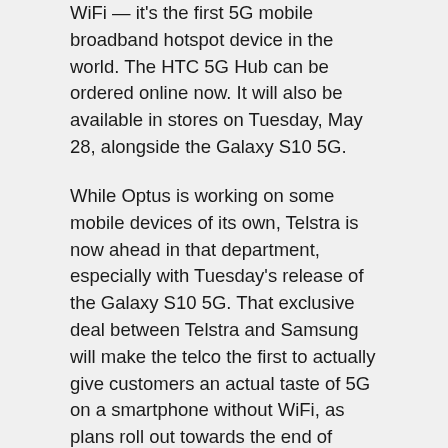WiFi — it's the first 5G mobile broadband hotspot device in the world. The HTC 5G Hub can be ordered online now. It will also be available in stores on Tuesday, May 28, alongside the Galaxy S10 5G.
While Optus is working on some mobile devices of its own, Telstra is now ahead in that department, especially with Tuesday's release of the Galaxy S10 5G. That exclusive deal between Telstra and Samsung will make the telco the first to actually give customers an actual taste of 5G on a smartphone without WiFi, as plans roll out towards the end of June.
Telstra vs Optus on 5G devices
Telstra began turning on its 5G sites last year, and claims to have a presence in areas where 4 million Australians live, work, or pass through. Optus didn't slack either; the telco announced its $70 per month